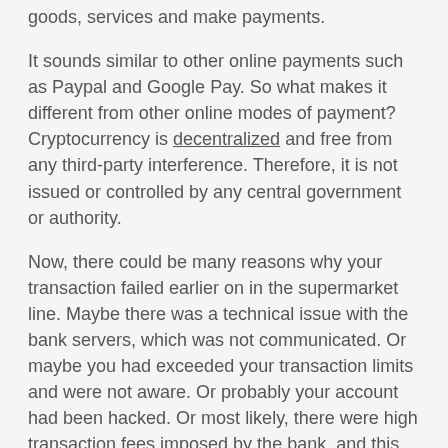goods, services and make payments.
It sounds similar to other online payments such as Paypal and Google Pay. So what makes it different from other online modes of payment? Cryptocurrency is decentralized and free from any third-party interference. Therefore, it is not issued or controlled by any central government or authority.
Now, there could be many reasons why your transaction failed earlier on in the supermarket line. Maybe there was a technical issue with the bank servers, which was not communicated. Or maybe you had exceeded your transaction limits and were not aware. Or probably your account had been hacked. Or most likely, there were high transaction fees imposed by the bank, and this led to insufficient funds on your card.
Changing Finance and